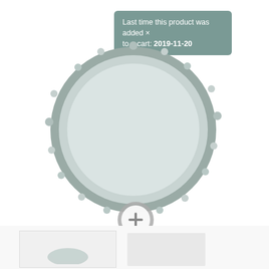Last time this product was added × to a cart: 2019-11-20
[Figure (photo): Round gray and light blue rug/mat with pom-pom border, viewed from above. Below it is a zoom-in magnifier icon with a plus sign.]
[Figure (photo): Thumbnail images at the bottom of the page showing partial views of the product.]